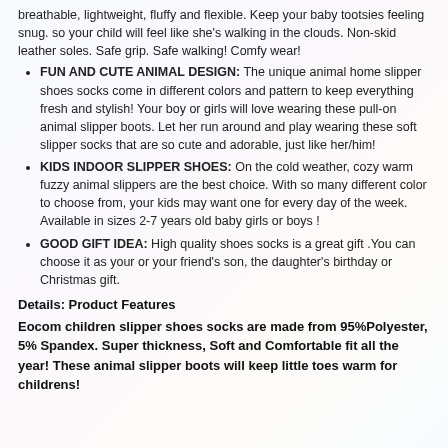breathable, lightweight, fluffy and flexible. Keep your baby tootsies feeling snug. so your child will feel like she's walking in the clouds. Non-skid leather soles. Safe grip. Safe walking! Comfy wear!
FUN AND CUTE ANIMAL DESIGN: The unique animal home slipper shoes socks come in different colors and pattern to keep everything fresh and stylish! Your boy or girls will love wearing these pull-on animal slipper boots. Let her run around and play wearing these soft slipper socks that are so cute and adorable, just like her/him!
KIDS INDOOR SLIPPER SHOES: On the cold weather, cozy warm fuzzy animal slippers are the best choice. With so many different color to choose from, your kids may want one for every day of the week. Available in sizes 2-7 years old baby girls or boys !
GOOD GIFT IDEA: High quality shoes socks is a great gift .You can choose it as your or your friend's son, the daughter's birthday or Christmas gift.
Details: Product Features
Eocom children slipper shoes socks are made from 95%Polyester, 5% Spandex. Super thickness, Soft and Comfortable fit all the year! These animal slipper boots will keep little toes warm for childrens!